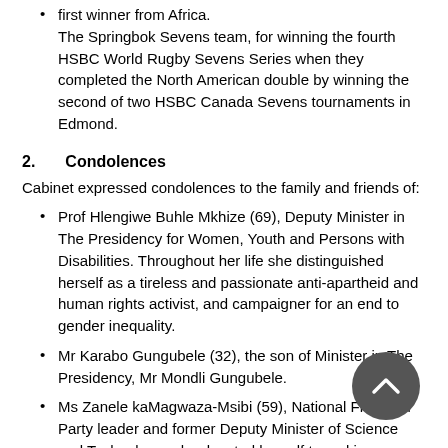The Springbok Sevens team, for winning the fourth HSBC World Rugby Sevens Series when they completed the North American double by winning the second of two HSBC Canada Sevens tournaments in Edmond.
2.   Condolences
Cabinet expressed condolences to the family and friends of:
Prof Hlengiwe Buhle Mkhize (69), Deputy Minister in The Presidency for Women, Youth and Persons with Disabilities. Throughout her life she distinguished herself as a tireless and passionate anti-apartheid and human rights activist, and campaigner for an end to gender inequality.
Mr Karabo Gungubele (32), the son of Minister in The Presidency, Mr Mondli Gungubele.
Ms Zanele kaMagwaza-Msibi (59), National Freedom Party leader and former Deputy Minister of Science and Technology, who devoted herself to making numerous extraordinary contributions to our democracy and society.
Mr Jolidee Matongo (46), City of Johannesburg Executive Mayor,  who was dedicated to improving conditions and